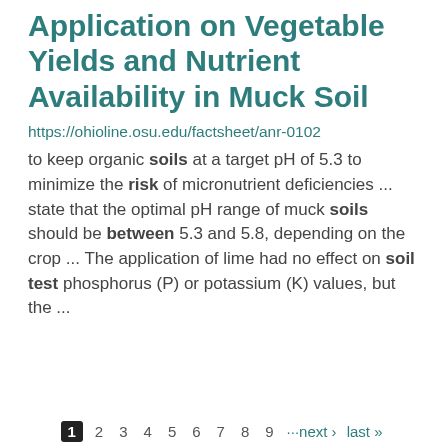Application on Vegetable Yields and Nutrient Availability in Muck Soil
https://ohioline.osu.edu/factsheet/anr-0102
to keep organic soils at a target pH of 5.3 to minimize the risk of micronutrient deficiencies ... state that the optimal pH range of muck soils should be between 5.3 and 5.8, depending on the crop ... The application of lime had no effect on soil test phosphorus (P) or potassium (K) values, but the ...
1 2 3 4 5 6 7 8 9 ···next › last »